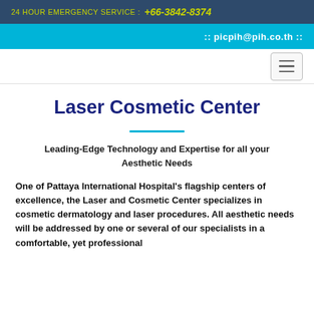24 HOUR EMERGENCY SERVICE : +66-3842-8374
:: picpih@pih.co.th ::
Laser Cosmetic Center
Leading-Edge Technology and Expertise for all your Aesthetic Needs
One of Pattaya International Hospital's flagship centers of excellence, the Laser and Cosmetic Center specializes in cosmetic dermatology and laser procedures. All aesthetic needs will be addressed by one or several of our specialists in a comfortable, yet professional